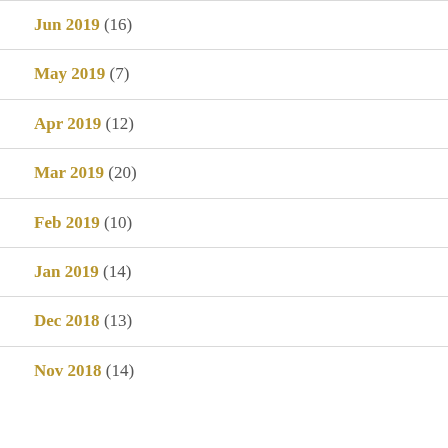Jun 2019 (16)
May 2019 (7)
Apr 2019 (12)
Mar 2019 (20)
Feb 2019 (10)
Jan 2019 (14)
Dec 2018 (13)
Nov 2018 (14)